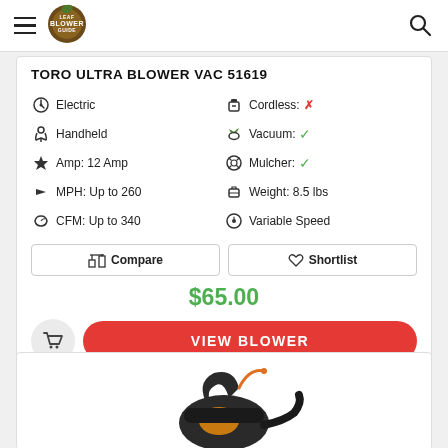Leaf Blower Guide
TORO ULTRA BLOWER VAC 51619
Electric
Cordless: ✗
Handheld
Vacuum: ✓
Amp: 12 Amp
Mulcher: ✓
MPH: Up to 260
Weight: 8.5 lbs
CFM: Up to 340
Variable Speed
Compare | Shortlist
$65.00
VIEW BLOWER
[Figure (photo): Partial image of a leaf blower (second product card, cropped at bottom of page)]